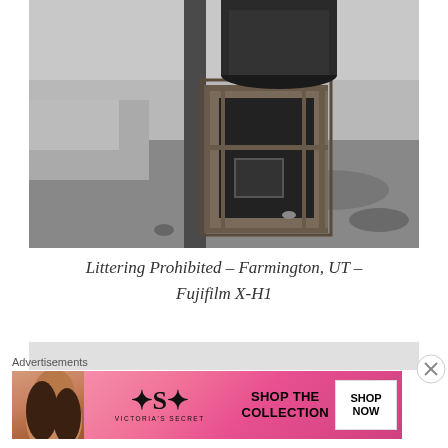[Figure (photo): Black and white photograph of a wooden trash/waste bin structure mounted next to a utility pole, outdoors on grass. The bin appears to be a rustic wooden frame holding a barrel or container. The scene is set in a grassy area.]
Littering Prohibited – Farmington, UT – Fujifilm X-H1
Advertisements
[Figure (photo): Victoria's Secret advertisement banner showing a woman's face on the left, the VS logo in the center, text 'SHOP THE COLLECTION' and a 'SHOP NOW' button on a pink background.]